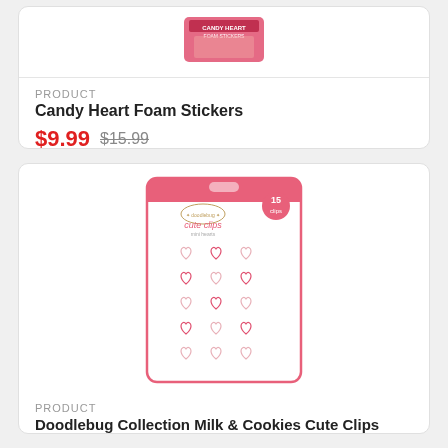[Figure (photo): Product image of Candy Heart Foam Stickers, partially visible at top of card]
PRODUCT
Candy Heart Foam Stickers
$9.99 $15.99
[Figure (photo): Product image of Doodlebug Collection Milk & Cookies Cute Clips Mini Hearts, showing a card with 15 heart-outline clips arranged in a 3x5 grid]
PRODUCT
Doodlebug Collection Milk & Cookies Cute Clips Mini